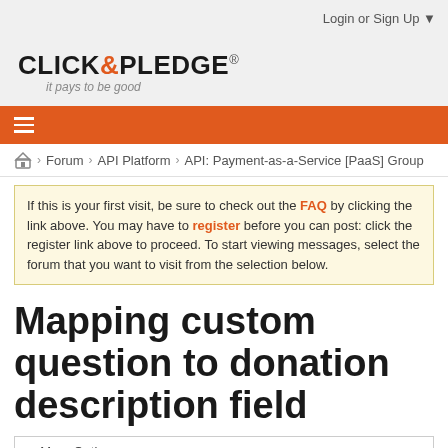Login or Sign Up ▼
[Figure (logo): Click & Pledge logo with tagline 'it pays to be good']
≡
🏠 > Forum > API Platform > API: Payment-as-a-Service [PaaS] Group
If this is your first visit, be sure to check out the FAQ by clicking the link above. You may have to register before you can post: click the register link above to proceed. To start viewing messages, select the forum that you want to visit from the selection below.
Mapping custom question to donation description field
+ More Options ∨